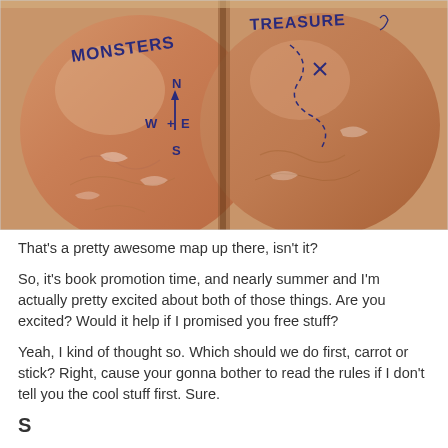[Figure (photo): Close-up photo of two human heels/feet with a hand-drawn treasure map written on the skin in blue pen. Left foot shows 'MONSTERS' written across it with a compass rose showing N, S, E, W directions. Right foot shows 'TREASURE' written across it with an X mark and dashed lines indicating a map path.]
That's a pretty awesome map up there, isn't it?
So, it's book promotion time, and nearly summer and I'm actually pretty excited about both of those things. Are you excited? Would it help if I promised you free stuff?
Yeah, I kind of thought so. Which should we do first, carrot or stick? Right, cause your gonna bother to read the rules if I don't tell you the cool stuff first. Sure.